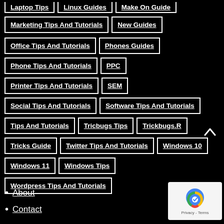Laptop Tips (cropped)
Linux Guides (cropped)
Make On Guide (cropped)
Marketing Tips And Tutorials
New Guides
Office Tips And Tutorials
Phones Guides
Phone Tips And Tutorials
PPC
Printer Tips And Tutorials
SEM
Social Tips And Tutorials
Software Tips And Tutorials
Tips And Tutorials
Tricbugs Tips
Trickbugs.R
Tricks Guide
Twitter Tips And Tutorials
Windows 10
Windows 11
Windows Tips
Wordpress Tips And Tutorials
About
Contact